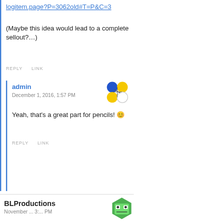logitem.page?P=3062old#T=P&C=3
(Maybe this idea would lead to a complete sellout?…)
REPLY   LINK
admin
December 1, 2016, 1:57 PM
[Figure (illustration): Admin avatar with colored circles and a bicycle icon]
Yeah, that's a great part for pencils! 😁
REPLY   LINK
BLProductions
[Figure (illustration): BLProductions avatar showing a green hexagonal character with eyes]
November ... 3:... PM